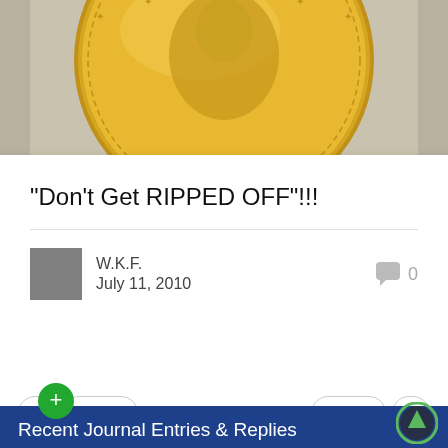[Figure (photo): Close-up photo of a gold coin (appears to be a Liberty gold coin) in a protective holder/slab, showing the obverse with stars and a profile portrait]
"Don't Get RIPPED OFF"!!!
W.K.F.
July 11, 2010
0
Page 5 of 12
Recent Journal Entries & Replies